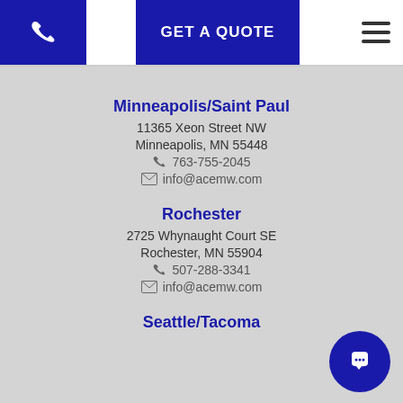GET A QUOTE
Minneapolis/Saint Paul
11365 Xeon Street NW
Minneapolis, MN 55448
763-755-2045
info@acemw.com
Rochester
2725 Whynaught Court SE
Rochester, MN 55904
507-288-3341
info@acemw.com
Seattle/Tacoma